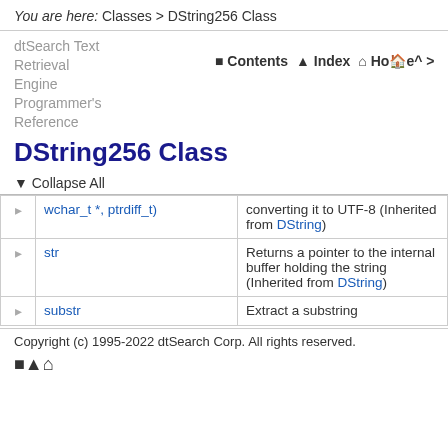You are here: Classes > DString256 Class
dtSearch Text Retrieval Engine Programmer's Reference
DString256 Class
▲ Collapse All
|  | Name | Description |
| --- | --- | --- |
|  | wchar_t*, ptrdiff_t) | converting it to UTF-8 (Inherited from DString) |
|  | str | Returns a pointer to the internal buffer holding the string (Inherited from DString) |
|  | substr | Extract a substring |
Copyright (c) 1995-2022 dtSearch Corp. All rights reserved.